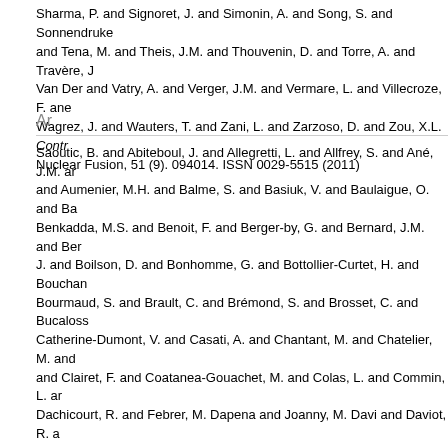Sharma, P. and Signoret, J. and Simonin, A. and Song, S. and Sonnendruke and Tena, M. and Theis, J.M. and Thouvenin, D. and Torre, A. and Travère, J Van Der and Vatry, A. and Verger, J.M. and Vermare, L. and Villecroze, F. ane Wagrez, J. and Wauters, T. and Zani, L. and Zarzoso, D. and Zou, X.L. Contr Nuclear Fusion, 51 (9). 094014. ISSN 0029-5515 (2011)
Ar
Saoutic, B. and Abiteboul, J. and Allegretti, L. and Allfrey, S. and Ané, J.M. ar and Aumenier, M.H. and Balme, S. and Basiuk, V. and Baulaigue, O. and Ba Benkadda, M.S. and Benoit, F. and Berger-by, G. and Bernard, J.M. and Ber J. and Boilson, D. and Bonhomme, G. and Bottollier-Curtet, H. and Bouchan Bourmaud, S. and Brault, C. and Brémond, S. and Brosset, C. and Bucaloss Catherine-Dumont, V. and Casati, A. and Chantant, M. and Chatelier, M. and and Clairet, F. and Coatanea-Gouachet, M. and Colas, L. and Commin, L. ar Dachicourt, R. and Febrer, M. Dapena and Joanny, M. Davi and Daviot, R. a and Delaporte, P. and Delchambre, E. and Delmas, E. and Delpech, L. and D and Doceul, L. and Douai, D. and Dougnac, H. and Duchateau, J.L. and Dug Durocher, A. and Duthoit, F.X. and Ekedahl, A. and Elbeze, D. and Khaldi, M Falchetto, G. and Farge, M. and Farjon, J.L. and Faury, M. and Fedorczak, N Frauel, Y. and Garbet, X. and Garcia, J. and Gardarein, J.L. and Gargiulo, L. and Géraud, A. and Geynet, M. and Ghendrih, P. and Giacalone, I. and Gibe and Grandgirard, V. and Grisolia, C. and Gros, G. and Grosman, A. and Guig Guirlet, R. and Gunn, J. and Gurcan, O. and Hacquin, S. and Hatchressian, Hertout, P. and Heuraux, S. and Hillairet, J. and Hoang, G.T. and Honore, C. Huysmans, G. and Imbeaux, F. and Joffrin, E. and Johner, J. and Jourd'Heu S.H. and Kocan, M. and Kubic, M. and Lacroix, B. and Lamaison, V. and Lath Leroux, F. and Letellier, L. and Lipa, M. and Litaudon, X. and Loarer, T. and L Maget, P. and Magne, R. and Manenc, L. and Marandet, Y. and Marbach, G